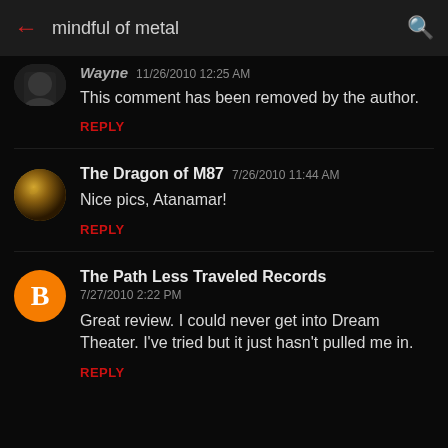mindful of metal
This comment has been removed by the author.
REPLY
The Dragon of M87  7/26/2010 11:44 AM
Nice pics, Atanamar!
REPLY
The Path Less Traveled Records  7/27/2010 2:22 PM
Great review. I could never get into Dream Theater. I've tried but it just hasn't pulled me in.
REPLY